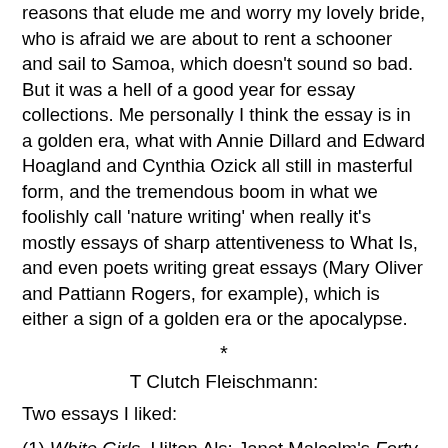reasons that elude me and worry my lovely bride, who is afraid we are about to rent a schooner and sail to Samoa, which doesn't sound so bad. But it was a hell of a good year for essay collections. Me personally I think the essay is in a golden era, what with Annie Dillard and Edward Hoagland and Cynthia Ozick all still in masterful form, and the tremendous boom in what we foolishly call 'nature writing' when really it's mostly essays of sharp attentiveness to What Is, and even poets writing great essays (Mary Oliver and Pattiann Rogers, for example), which is either a sign of a golden era or the apocalypse.
*
T Clutch Fleischmann:
Two essays I liked:
(1) White Girls, Hilton Als: Janet Malcolm's Forty-One False Starts got a lot of deserved praise for being the seminal "criticism can be art!" example, but I'm more a fan of Als, whose magnificent sentences hazard and pierce and